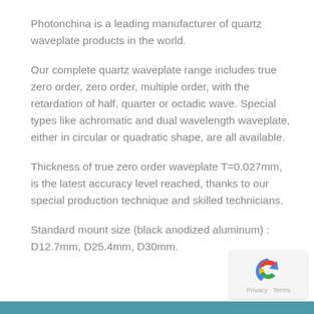Photonchina is a leading manufacturer of quartz waveplate products in the world.
Our complete quartz waveplate range includes true zero order, zero order, multiple order, with the retardation of half, quarter or octadic wave. Special types like achromatic and dual wavelength waveplate, either in circular or quadratic shape, are all available.
Thickness of true zero order waveplate T=0.027mm, is the latest accuracy level reached, thanks to our special production technique and skilled technicians.
Standard mount size (black anodized aluminum) : D12.7mm, D25.4mm, D30mm.
[Figure (logo): reCAPTCHA logo with Privacy and Terms text]